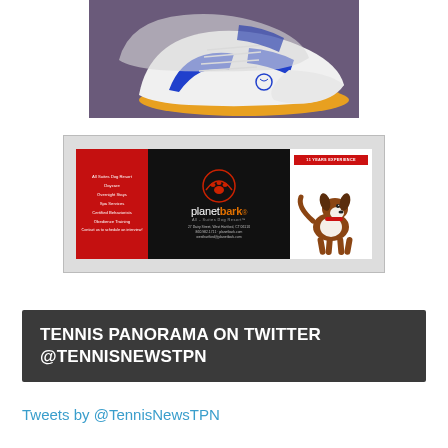[Figure (photo): White and blue tennis/table tennis shoe with yellow sole, photographed from the side on a purple background]
[Figure (advertisement): Planet Bark All-Suites Dog Resort advertisement banner with red and black sections, paw logo, and a running dog photo. Address: 27 Dairy Street, West Hartford, CT 06110. Phone: 860.982.1711. Website: planetbark.com]
TENNIS PANORAMA ON TWITTER @TENNISNEWSTPN
Tweets by @TennisNewsTPN